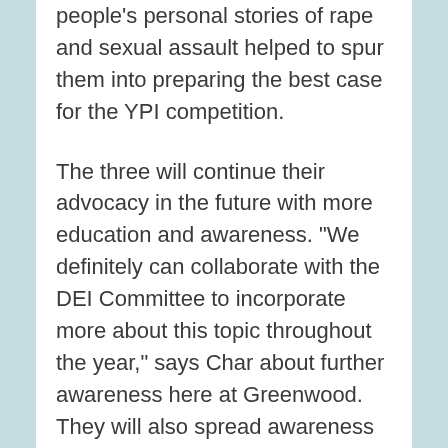people's personal stories of rape and sexual assault helped to spur them into preparing the best case for the YPI competition.
The three will continue their advocacy in the future with more education and awareness. "We definitely can collaborate with the DEI Committee to incorporate more about this topic throughout the year," says Char about further awareness here at Greenwood. They will also spread awareness on their personal social media to